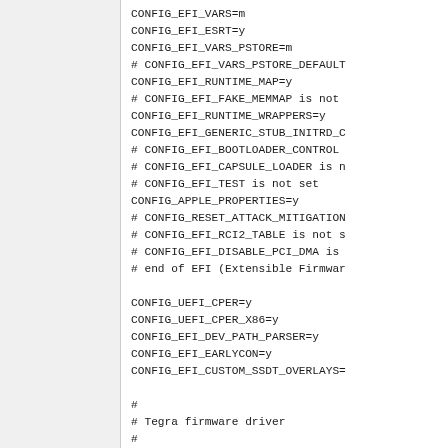CONFIG_EFI_VARS=m
CONFIG_EFI_ESRT=y
CONFIG_EFI_VARS_PSTORE=m
# CONFIG_EFI_VARS_PSTORE_DEFAULT
CONFIG_EFI_RUNTIME_MAP=y
# CONFIG_EFI_FAKE_MEMMAP is not
CONFIG_EFI_RUNTIME_WRAPPERS=y
CONFIG_EFI_GENERIC_STUB_INITRD_C
# CONFIG_EFI_BOOTLOADER_CONTROL
# CONFIG_EFI_CAPSULE_LOADER is n
# CONFIG_EFI_TEST is not set
CONFIG_APPLE_PROPERTIES=y
# CONFIG_RESET_ATTACK_MITIGATION
# CONFIG_EFI_RCI2_TABLE is not s
# CONFIG_EFI_DISABLE_PCI_DMA is
# end of EFI (Extensible Firmwar

CONFIG_UEFI_CPER=y
CONFIG_UEFI_CPER_X86=y
CONFIG_EFI_DEV_PATH_PARSER=y
CONFIG_EFI_EARLYCON=y
CONFIG_EFI_CUSTOM_SSDT_OVERLAYS=

#
# Tegra firmware driver
#
# end of Tegra firmware driver
# end of Firmware Drivers

CONFIG_HAVE_KVM=y
CONFIG_HAVE_KVM_IRQCHIP=y
CONFIG_HAVE_KVM_IRQFD=y